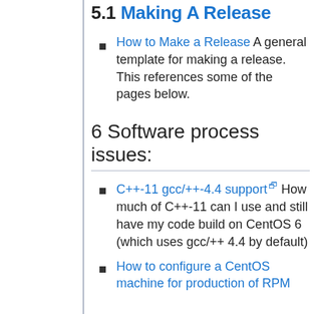5.1 Making A Release
How to Make a Release A general template for making a release. This references some of the pages below.
6 Software process issues:
C++-11 gcc/++-4.4 support [external link] How much of C++-11 can I use and still have my code build on CentOS 6 (which uses gcc/++ 4.4 by default)
How to configure a CentOS machine for production of RPM